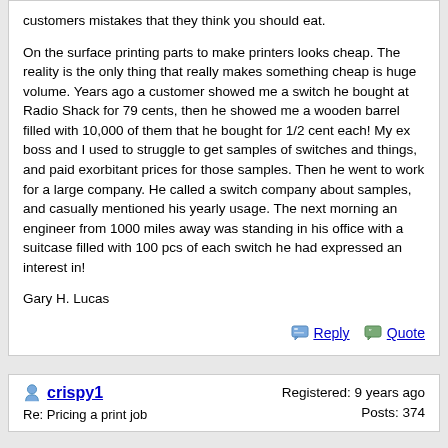customers mistakes that they think you should eat.

On the surface printing parts to make printers looks cheap. The reality is the only thing that really makes something cheap is huge volume. Years ago a customer showed me a switch he bought at Radio Shack for 79 cents, then he showed me a wooden barrel filled with 10,000 of them that he bought for 1/2 cent each! My ex boss and I used to struggle to get samples of switches and things, and paid exorbitant prices for those samples. Then he went to work for a large company. He called a switch company about samples, and casually mentioned his yearly usage. The next morning an engineer from 1000 miles away was standing in his office with a suitcase filled with 100 pcs of each switch he had expressed an interest in!

Gary H. Lucas
Reply | Quote
crispy1
Re: Pricing a print job
Registered: 9 years ago
Posts: 374